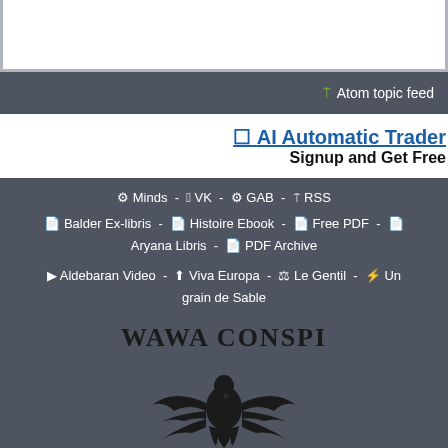[Figure (screenshot): Top white content area with border]
🔊 Atom topic feed
[Figure (screenshot): Advertisement banner: AI Automatic Trader - Signup and Get Free]
⚙ Minds - VK - ⚙ GAB - RSS
📄 Balder Ex-libris - 📄 Histoire Ebook - 📄 Free PDF - 📄 Aryana Libris - 📄 PDF Archive
▶ Aldebaran Video - ⬆ Viva Europa - ⚖ Le Gentil - ⚡ Un grain de Sable
[Figure (logo): WAWA CONSPI logo with eagle emblem]